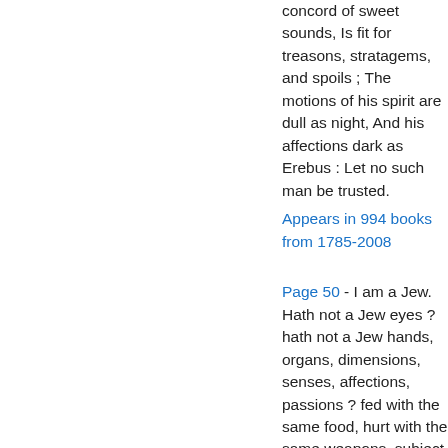concord of sweet sounds, Is fit for treasons, stratagems, and spoils ; The motions of his spirit are dull as night, And his affections dark as Erebus : Let no such man be trusted.
Appears in 994 books from 1785-2008
Page 50 - I am a Jew. Hath not a Jew eyes ? hath not a Jew hands, organs, dimensions, senses, affections, passions ? fed with the same food, hurt with the same weapons, subject to the same diseases, healed by the same means, warmed and cooled by the same winter and summer, as a